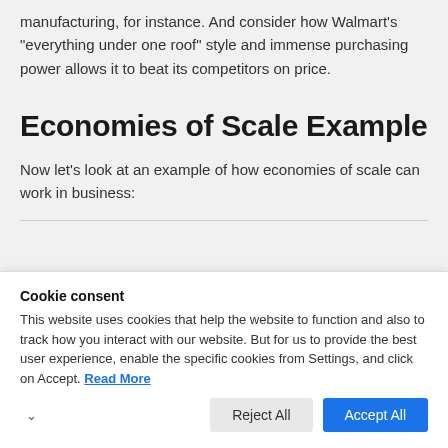manufacturing, for instance. And consider how Walmart's "everything under one roof" style and immense purchasing power allows it to beat its competitors on price.
Economies of Scale Example
Now let's look at an example of how economies of scale can work in business:
Cookie consent
This website uses cookies that help the website to function and also to track how you interact with our website. But for us to provide the best user experience, enable the specific cookies from Settings, and click on Accept. Read More